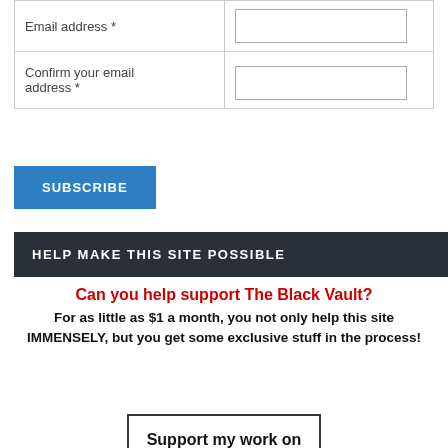| Field | Input |
| --- | --- |
| Email address * |  |
| Confirm your email address * |  |
SUBSCRIBE
HELP MAKE THIS SITE POSSIBLE
Can you help support The Black Vault?
For as little as $1 a month, you not only help this site IMMENSELY, but you get some exclusive stuff in the process!
[Figure (other): Support my work on (partial image of a support/donation button)]